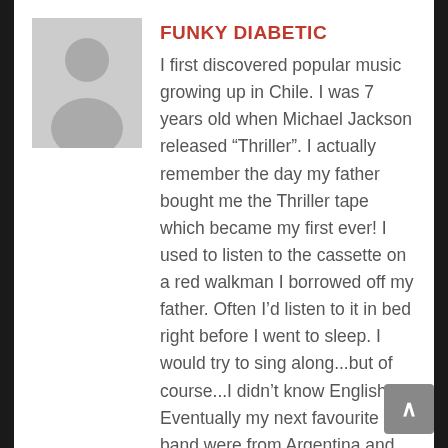[Figure (illustration): Gray placeholder avatar silhouette of a person]
FUNKY DIABETIC
I first discovered popular music growing up in Chile. I was 7 years old when Michael Jackson released “Thriller”. I actually remember the day my father bought me the Thriller tape which became my first ever! I used to listen to the cassette on a red walkman I borrowed off my father. Often I’d listen to it in bed right before I went to sleep. I would try to sing along...but of course...I didn’t know English! Eventually my next favourite band were from Argentina and their lyrics were in Spanish. Soda Stereo released their first album in 1984 and I guessed my parents noticed I like them so much that they decided to buy me the cassette of their second album released in 1985 for my 10th birthday. “Nada Personal” was being played daily on my walkman! It